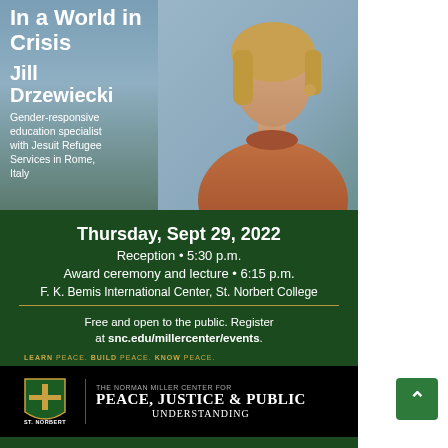[Figure (photo): Event flyer with photo of Jill Drzewiecki (woman in rust-colored turtleneck) against a blurred outdoor background. Upper portion has a dark blue-gray/teal background with white text overlay.]
In a World in Crisis
Jill Drzewiecki
Gender-responsive education specialist with Jesuit Refugee Services in Rome, Italy
Thursday, Sept 29, 2022
Reception • 5:30 p.m.
Award ceremony and lecture • 6:15 p.m.
F. K. Bemis International Center, St. Norbert College
Free and open to the public. Register at snc.edu/millercenter/events.
LEARN PEACE. BUILD PEACE. KNOW PEACE.
[Figure (logo): St. Norbert College shield logo and The Norman Miller Center for Peace, Justice & Public Understanding wordmark on black background]